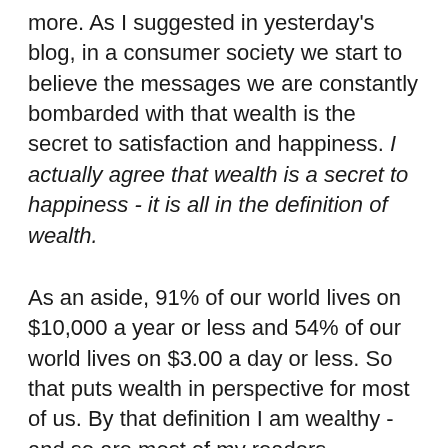more. As I suggested in yesterday's blog, in a consumer society we start to believe the messages we are constantly bombarded with that wealth is the secret to satisfaction and happiness. I actually agree that wealth is a secret to happiness - it is all in the definition of wealth.
As an aside, 91% of our world lives on $10,000 a year or less and 54% of our world lives on $3.00 a day or less. So that puts wealth in perspective for most of us. By that definition I am wealthy - and so are most of my readers.
Financial wealth is nice but it won't bring happiness. Dollars are not the true